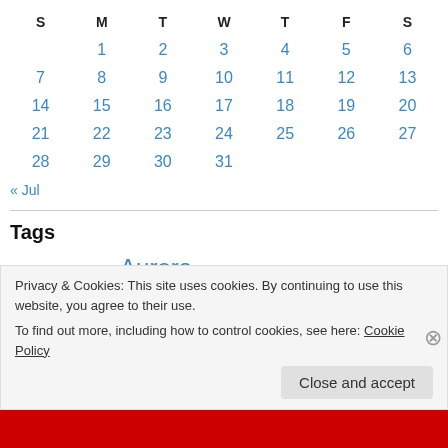| S | M | T | W | T | F | S |
| --- | --- | --- | --- | --- | --- | --- |
|  | 1 | 2 | 3 | 4 | 5 | 6 |
| 7 | 8 | 9 | 10 | 11 | 12 | 13 |
| 14 | 15 | 16 | 17 | 18 | 19 | 20 |
| 21 | 22 | 23 | 24 | 25 | 26 | 27 |
| 28 | 29 | 30 | 31 |  |  |  |
« Jul
Tags
Antigone Astra Aurora Ava Bambi barn barnyard Blaze Bob breeding
Privacy & Cookies: This site uses cookies. By continuing to use this website, you agree to their use.
To find out more, including how to control cookies, see here: Cookie Policy